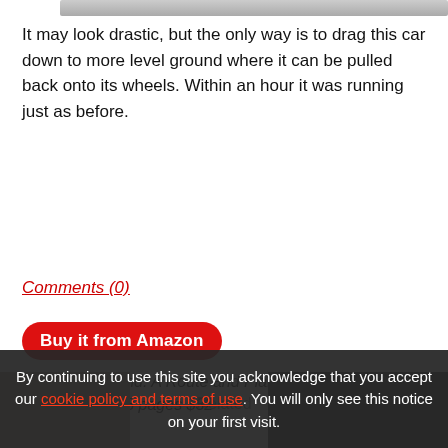[Figure (photo): Partial view of a vehicle or car image at top of page, grayscale]
It may look drastic, but the only way is to drag this car down to more level ground where it can be pulled back onto its wheels. Within an hour it was running just as before.
Comments (0)
Buy it from Amazon
Sahara Overland: A Route and Planning Guide Chris Scott 2005, 688 pages $32
By continuing to use this site you acknowledge that you accept our cookie policy and terms of use. You will only see this notice on your first visit.
Related
[Figure (photo): Two thumbnail images partially visible at the bottom of the page]